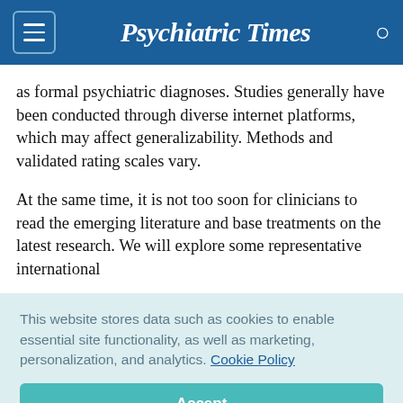Psychiatric Times
as formal psychiatric diagnoses. Studies generally have been conducted through diverse internet platforms, which may affect generalizability. Methods and validated rating scales vary.
At the same time, it is not too soon for clinicians to read the emerging literature and base treatments on the latest research. We will explore some representative international
This website stores data such as cookies to enable essential site functionality, as well as marketing, personalization, and analytics. Cookie Policy
Accept
Deny